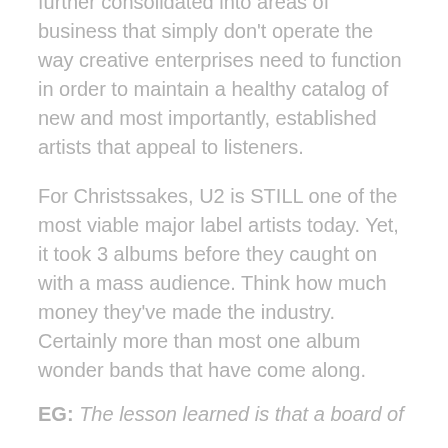further consolidated into areas of business that simply don't operate the way creative enterprises need to function in order to maintain a healthy catalog of new and most importantly, established artists that appeal to listeners.
For Christssakes, U2 is STILL one of the most viable major label artists today. Yet, it took 3 albums before they caught on with a mass audience. Think how much money they've made the industry. Certainly more than most one album wonder bands that have come along.
EG: The lesson learned is that a board of